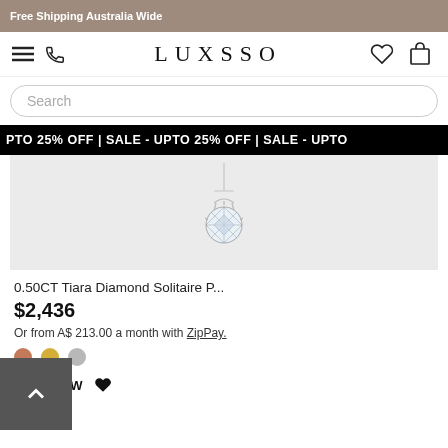Free Shipping Australia Wide
[Figure (logo): LUXSSO brand logo with hamburger menu, phone icon, heart icon and shopping bag icon]
Search
PTO 25% OFF | SALE - UPTO 25% OFF | SALE - UPTO
[Figure (photo): Diamond solitaire pendant necklace on light grey background]
0.50CT Tiara Diamond Solitaire P...
$2,436
Or from A$ 213.00 a month with ZipPay.
[Figure (other): Three color swatches: rose gold, yellow gold, silver]
BUY NOW